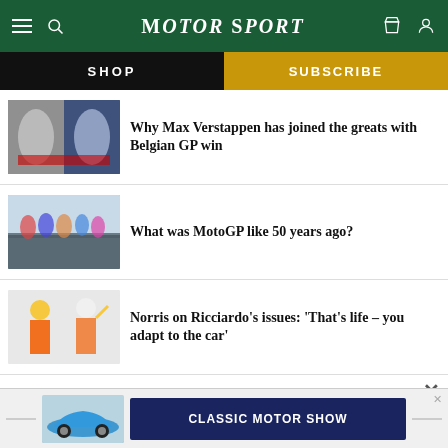MotorSport
SHOP
SUBSCRIBE
Why Max Verstappen has joined the greats with Belgian GP win
What was MotoGP like 50 years ago?
Norris on Ricciardo's issues: 'That's life – you adapt to the car'
[Figure (screenshot): Advertisement banner for Classic Motor Show featuring a blue Porsche 911]
CLASSIC MOTOR SHOW